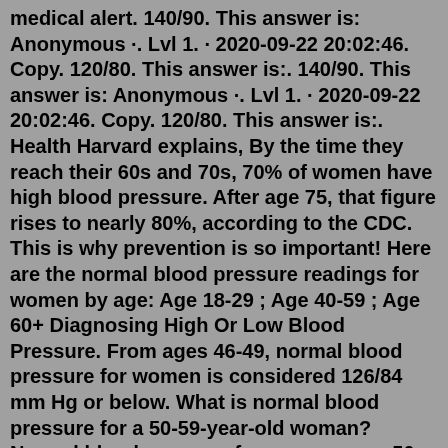medical alert. 140/90. This answer is: Anonymous ·. Lvl 1. · 2020-09-22 20:02:46. Copy. 120/80. This answer is:. 140/90. This answer is: Anonymous ·. Lvl 1. · 2020-09-22 20:02:46. Copy. 120/80. This answer is:. Health Harvard explains, By the time they reach their 60s and 70s, 70% of women have high blood pressure. After age 75, that figure rises to nearly 80%, according to the CDC. This is why prevention is so important! Here are the normal blood pressure readings for women by age: Age 18-29 ; Age 40-59 ; Age 60+ Diagnosing High Or Low Blood Pressure. From ages 46-49, normal blood pressure for women is considered 126/84 mm Hg or below. What is normal blood pressure for a 50-59-year-old woman? Normal blood pressure for women ages 50-55 is 129/85 mm Hg. From ages 56-59, normal blood pressure for women is 130/86 mm Hg and below. RELATED: Keep Your Blood Pressure in Normal Range Like a. The normal resting heart rate range for all adults and children 10 and over is between 60 and 100 beats per